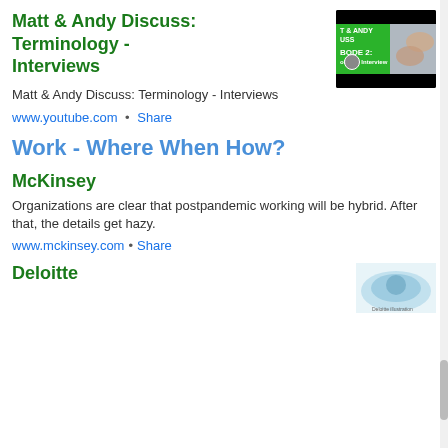Matt & Andy Discuss: Terminology - Interviews
Matt & Andy Discuss: Terminology - Interviews
www.youtube.com  •  Share
[Figure (screenshot): Thumbnail image for YouTube video showing green and black banner with text 'T & ANDY USS' and 'BODE 2: ology - Interview' with a profile avatar and hands in background]
Work - Where When How?
McKinsey
Organizations are clear that postpandemic working will be hybrid. After that, the details get hazy.
www.mckinsey.com  •  Share
Deloitte